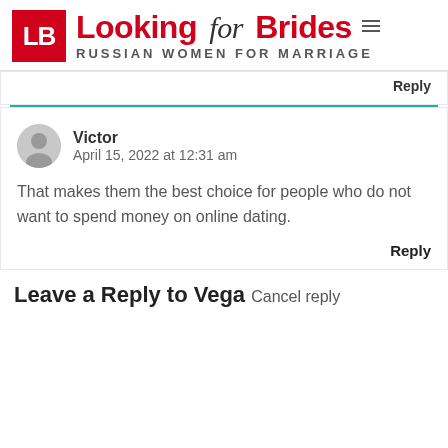[Figure (logo): Looking for Brides logo with red LB box and 'RUSSIAN WOMEN FOR MARRIAGE' subtitle]
Reply
Victor
April 15, 2022 at 12:31 am

That makes them the best choice for people who do not want to spend money on online dating.
Reply
Leave a Reply to Vega Cancel reply